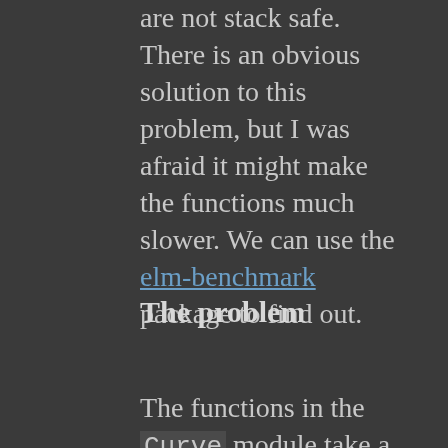are not stack safe. There is an obvious solution to this problem, but I was afraid it might make the functions much slower. We can use the elm-benchmark package to find out.
The problem
The functions in the Curve module take a